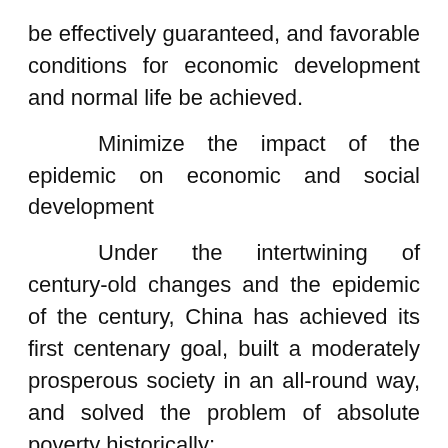be effectively guaranteed, and favorable conditions for economic development and normal life be achieved.
Minimize the impact of the epidemic on economic and social development
Under the intertwining of century-old changes and the epidemic of the century, China has achieved its first centenary goal, built a moderately prosperous society in an all-round way, and solved the problem of absolute poverty historically;
Not afraid of the continued spread of the impact of the new crown pneumonia epidemic,